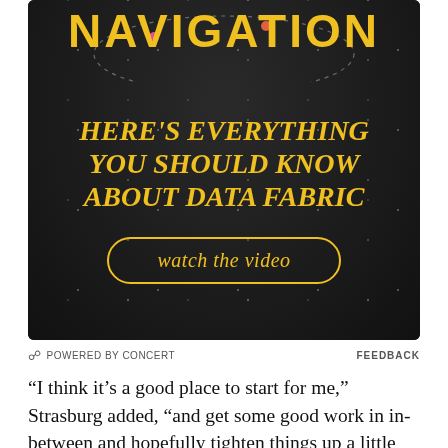[Figure (infographic): Dark-background advertisement banner with starfield. Large gold bold text 'NAVIGATION' at top with orbital arc and colored dots. Below: gold serif italic bold text 'HERE'S EVERYTHING YOU SHOULD KNOW ABOUT DATA FABRIC'. Gold rounded-rectangle button 'watch the video'. Footer: 'POWERED BY CONCERT' and 'FEEDBACK'.]
“I think it’s a good place to start for me,” Strasburg added, “and get some good work in in-between and hopefully tighten things up a little bit for the next one.”